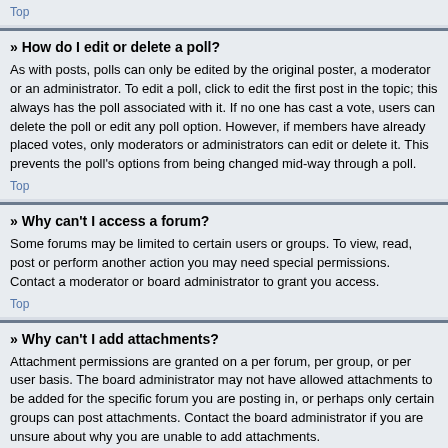Top
» How do I edit or delete a poll?
As with posts, polls can only be edited by the original poster, a moderator or an administrator. To edit a poll, click to edit the first post in the topic; this always has the poll associated with it. If no one has cast a vote, users can delete the poll or edit any poll option. However, if members have already placed votes, only moderators or administrators can edit or delete it. This prevents the poll's options from being changed mid-way through a poll.
Top
» Why can't I access a forum?
Some forums may be limited to certain users or groups. To view, read, post or perform another action you may need special permissions. Contact a moderator or board administrator to grant you access.
Top
» Why can't I add attachments?
Attachment permissions are granted on a per forum, per group, or per user basis. The board administrator may not have allowed attachments to be added for the specific forum you are posting in, or perhaps only certain groups can post attachments. Contact the board administrator if you are unsure about why you are unable to add attachments.
Top
» Why did I receive a warning?